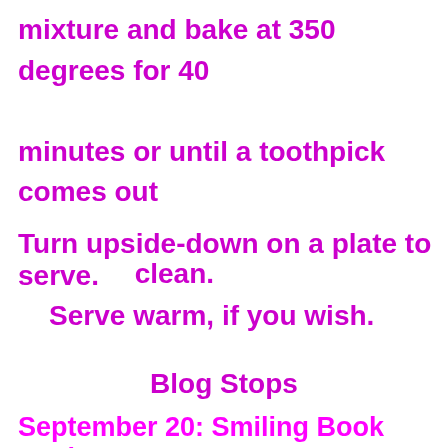mixture and bake at 350 degrees for 40 minutes or until a toothpick comes out clean.
Turn upside-down on a plate to serve.
Serve warm, if you wish.
Blog Stops
September 20: Smiling Book Reviews